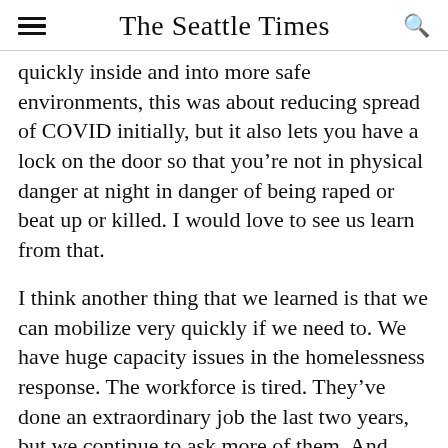The Seattle Times
quickly inside and into more safe environments, this was about reducing spread of COVID initially, but it also lets you have a lock on the door so that you're not in physical danger at night in danger of being raped or beat up or killed. I would love to see us learn from that.
I think another thing that we learned is that we can mobilize very quickly if we need to. We have huge capacity issues in the homelessness response. The workforce is tired. They've done an extraordinary job the last two years, but we continue to ask more of them. And wages are low and support is slim.
One shift we're seeing now is heavy-on-enforcement approaches to homelessness in some places, using police to remove homeless